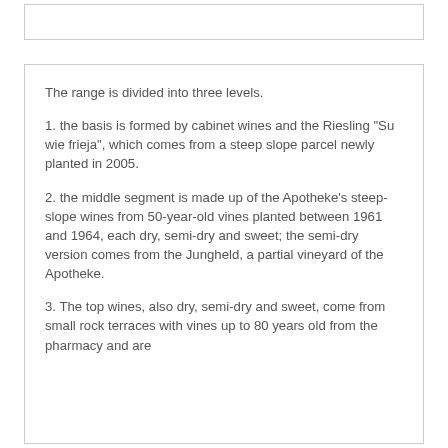The range is divided into three levels.
1. the basis is formed by cabinet wines and the Riesling "Su wie frieja", which comes from a steep slope parcel newly planted in 2005.
2. the middle segment is made up of the Apotheke's steep-slope wines from 50-year-old vines planted between 1961 and 1964, each dry, semi-dry and sweet; the semi-dry version comes from the Jungheld, a partial vineyard of the Apotheke.
3. The top wines, also dry, semi-dry and sweet, come from small rock terraces with vines up to 80 years old from the pharmacy and are